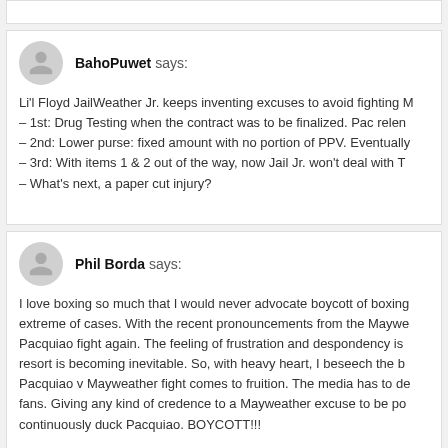BahoPuwet says: Li'l Floyd JailWeather Jr. keeps inventing excuses to avoid fighting – 1st: Drug Testing when the contract was to be finalized. Pac relen – 2nd: Lower purse: fixed amount with no portion of PPV. Eventually – 3rd: With items 1 & 2 out of the way, now Jail Jr. won't deal with T – What's next, a paper cut injury?
Phil Borda says: I love boxing so much that I would never advocate boycott of boxing extreme of cases. With the recent pronouncements from the Maywe Pacquiao fight again. The feeling of frustration and despondency is resort is becoming inevitable. So, with heavy heart, I beseech the b Pacquiao v Mayweather fight comes to fruition. The media has to de fans. Giving any kind of credence to a Mayweather excuse to be po continuously duck Pacquiao. BOYCOTT!!!